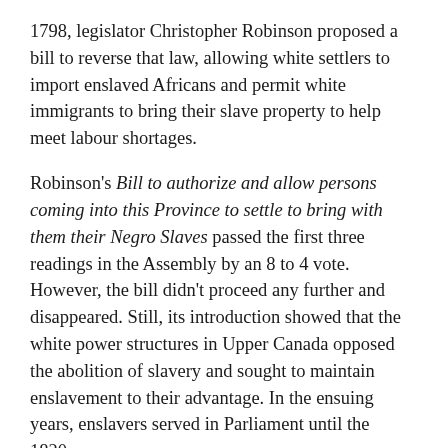1798, legislator Christopher Robinson proposed a bill to reverse that law, allowing white settlers to import enslaved Africans and permit white immigrants to bring their slave property to help meet labour shortages.
Robinson's Bill to authorize and allow persons coming into this Province to settle to bring with them their Negro Slaves passed the first three readings in the Assembly by an 8 to 4 vote. However, the bill didn't proceed any further and disappeared. Still, its introduction showed that the white power structures in Upper Canada opposed the abolition of slavery and sought to maintain enslavement to their advantage. In the ensuing years, enslavers served in Parliament until the 1820s.
As a British colony, Canada was also very much entangled in the Transatlantic slave trade. Salted cod and timber were exported from Canada to the Caribbean. Artist Camille Turner has identified 19 slave ships constructed in